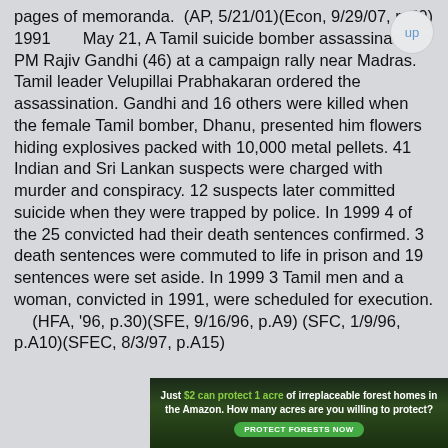pages of memoranda.  (AP, 5/21/01)(Econ, 9/29/07, p.50)
1991       May 21, A Tamil suicide bomber assassinated PM Rajiv Gandhi (46) at a campaign rally near Madras. Tamil leader Velupillai Prabhakaran ordered the assassination. Gandhi and 16 others were killed when the female Tamil bomber, Dhanu, presented him flowers hiding explosives packed with 10,000 metal pellets. 41 Indian and Sri Lankan suspects were charged with murder and conspiracy. 12 suspects later committed suicide when they were trapped by police. In 1999 4 of the 25 convicted had their death sentences confirmed. 3 death sentences were commuted to life in prison and 19 sentences were set aside. In 1999 3 Tamil men and a woman, convicted in 1991, were scheduled for execution.
     (HFA, '96, p.30)(SFE, 9/16/96, p.A9)(SFC, 1/9/96, p.A10)(SFEC, 8/3/97, p.A15)
[Figure (photo): Advertisement banner for Amazon forest protection: 'Just $2 can protect 1 acre of irreplaceable forest homes in the Amazon. How many acres are you willing to protect?' with a green 'PROTECT FORESTS NOW' button. Background shows forest/wildlife imagery.]